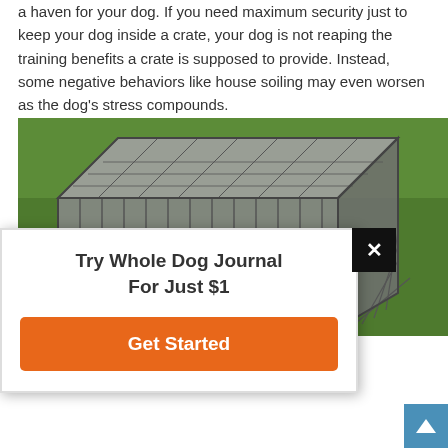a haven for your dog. If you need maximum security just to keep your dog inside a crate, your dog is not reaping the training benefits a crate is supposed to provide. Instead, some negative behaviors like house soiling may even worsen as the dog's stress compounds.
[Figure (photo): Metal dog crate/kennel with grid top, photographed outdoors on green grass]
Try Whole Dog Journal For Just $1
Get Started